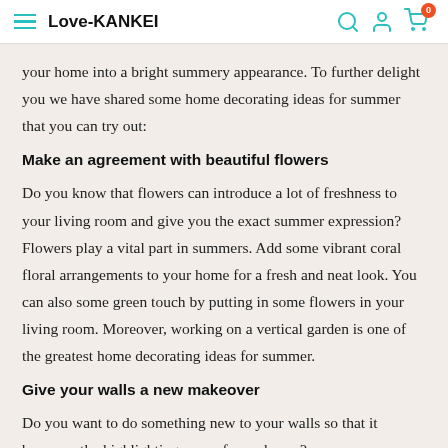Love-KANKEI
your home into a bright summery appearance. To further delight you we have shared some home decorating ideas for summer that you can try out:
Make an agreement with beautiful flowers
Do you know that flowers can introduce a lot of freshness to your living room and give you the exact summer expression? Flowers play a vital part in summers. Add some vibrant coral floral arrangements to your home for a fresh and neat look. You can also some green touch by putting in some flowers in your living room. Moreover, working on a vertical garden is one of the greatest home decorating ideas for summer.
Give your walls a new makeover
Do you want to do something new to your walls so that it becomes the highlighting prop of your house?